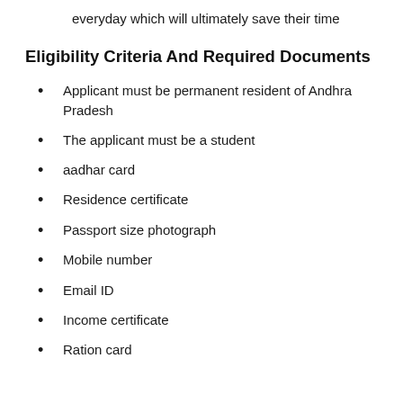everyday which will ultimately save their time
Eligibility Criteria And Required Documents
Applicant must be permanent resident of Andhra Pradesh
The applicant must be a student
aadhar card
Residence certificate
Passport size photograph
Mobile number
Email ID
Income certificate
Ration card